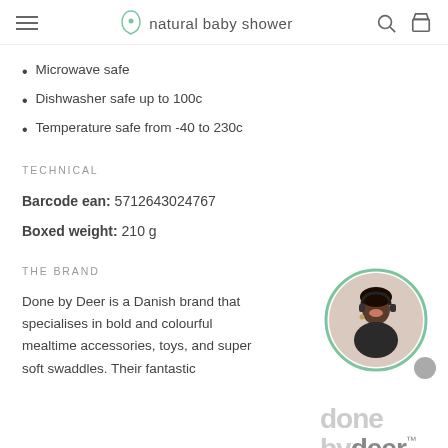natural baby shower
Microwave safe
Dishwasher safe up to 100c
Temperature safe from -40 to 230c
TECHNICAL
Barcode ean: 5712643024767
Boxed weight: 210 g
THE BRAND
[Figure (photo): Photo of a smiling woman with headset, circular crop with green border, and Done by Deer brand logo]
Done by Deer is a Danish brand that specialises in bold and colourful mealtime accessories, toys, and super soft swaddles. Their fantastic